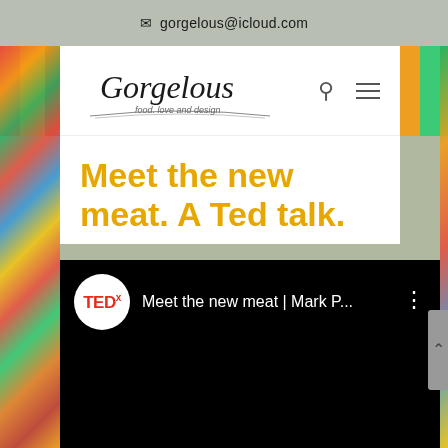✉ gorgelous@icloud.com
[Figure (logo): Gorgelous logo with italic script text and tagline 'food. love and design']
Meet the new meat. A Ted talk.
[Figure (screenshot): TEDx YouTube video embed showing 'Meet the new meat | Mark P...' with TEDx logo and three-dot menu icon on black background]